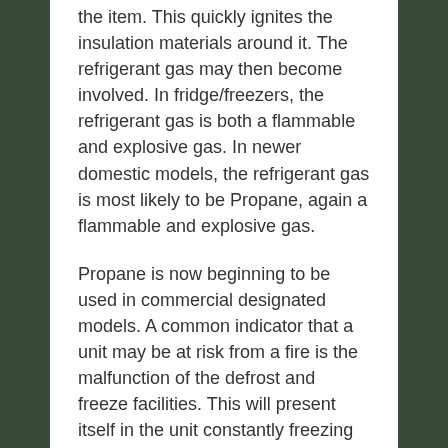the item. This quickly ignites the insulation materials around it. The refrigerant gas may then become involved. In fridge/freezers, the refrigerant gas is both a flammable and explosive gas. In newer domestic models, the refrigerant gas is most likely to be Propane, again a flammable and explosive gas.
Propane is now beginning to be used in commercial designated models. A common indicator that a unit may be at risk from a fire is the malfunction of the defrost and freeze facilities. This will present itself in the unit constantly freezing up or being unable to maintain a freezing temperature.
Statistically Beko models have been